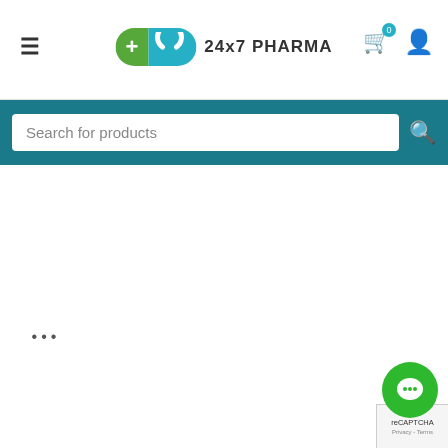24x7 PHARMA
Search for products
best possible pharmaceutical care.
Please note that not all medications, including any referenced on this page, are dispensed from our affiliated Indian pharmacy. The medications in your order may be filled and shipped from an approved International fulfillment center located in a country other than India. In addition to dispensing medications from our Indian pharmacy, medication orders are also filled and shipped from international fulfillment centers that are approved by the regulatory bodies from their respective countries. Medication orders are filled and shipped from approved fulfillment centers around the world including, but not limited to, India, United Kingdom, New Zealand, Mauritius and the United States. The items in your order may be filled and shipped from any one of the above jurisdictions. The products are sourced from various countries as well as those listed above. All of our affiliated fulfillment centers have been approved by the regulatory bodies from their respective countries.
Our Address : 114, Mahek Icon, S. Dairy Road, Surat, Gujarat –